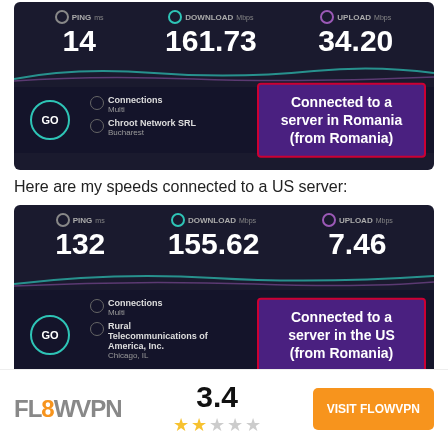[Figure (screenshot): Speed test result showing PING 14ms, DOWNLOAD 161.73 Mbps, UPLOAD 34.20 Mbps. Connected to a server in Romania (from Romania). ISP: Chroot Network SRL, Bucharest.]
Here are my speeds connected to a US server:
[Figure (screenshot): Speed test result showing PING 132ms, DOWNLOAD 155.62 Mbps, UPLOAD 7.46 Mbps. Connected to a server in the US (from Romania). ISP: Rural Telecommunications of America, Inc., Chicago, IL.]
[Figure (logo): FL8WVPN logo with rating 3.4 and 2 out of 5 stars, and orange VISIT FLOWVPN button]